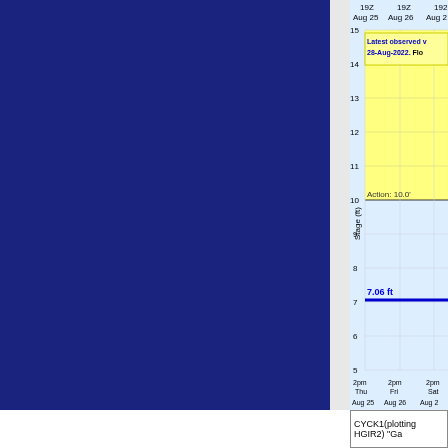[Figure (continuous-plot): Partial river stage hydrograph showing observed water level of 7.06 ft around Aug 25-27, 2022. Y-axis shows Stage in feet from 5 to 15. X-axis shows time from 2pm Thu Aug 25 to 2pm Sat. Yellow flood zone above Action level 10.0 ft. Blue line at approximately 7.06 ft. Legend box: 'Latest observed value 28-Aug-2022. Flo...' Title at bottom: CYCK1(plotting HGIR2) 'Ga']
CYCK1(plotting HGIR2) "Ga